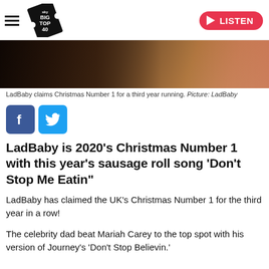Big Top 40 — LISTEN
[Figure (photo): Close-up photo of a person (LadBaby) with a dark background and festive elements]
LadBaby claims Christmas Number 1 for a third year running. Picture: LadBaby
[Figure (logo): Facebook and Twitter share buttons]
LadBaby is 2020's Christmas Number 1 with this year's sausage roll song 'Don't Stop Me Eatin"
LadBaby has claimed the UK's Christmas Number 1 for the third year in a row!
The celebrity dad beat Mariah Carey to the top spot with his version of Journey's 'Don't Stop Believin.'